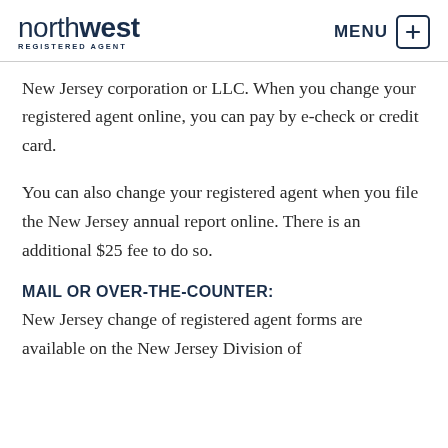northwest REGISTERED AGENT | MENU
New Jersey corporation or LLC. When you change your registered agent online, you can pay by e-check or credit card.
You can also change your registered agent when you file the New Jersey annual report online. There is an additional $25 fee to do so.
MAIL OR OVER-THE-COUNTER:
New Jersey change of registered agent forms are available on the New Jersey Division of